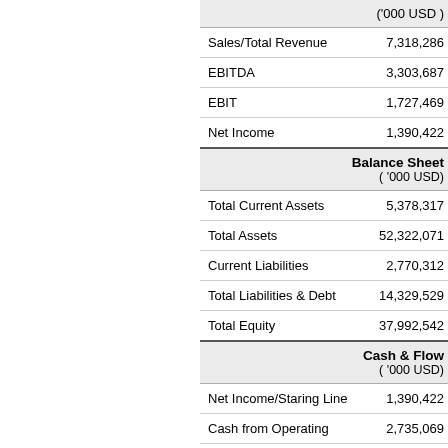|  |  |
| --- | --- |
| ('000 USD ) |  |
| Sales/Total Revenue | 7,318,286 |
| EBITDA | 3,303,687 |
| EBIT | 1,727,469 |
| Net Income | 1,390,422 |
| Balance Sheet
( '000 USD) |  |
| Total Current Assets | 5,378,317 |
| Total Assets | 52,322,071 |
| Current Liabilities | 2,770,312 |
| Total Liabilities & Debt | 14,329,529 |
| Total Equity | 37,992,542 |
| Cash & Flow
( '000 USD) |  |
| Net Income/Staring Line | 1,390,422 |
| Cash from Operating | 2,735,069 |
| Cash from Investing | 2,143,525 |
| Cash from Financing | 2,858,021 |